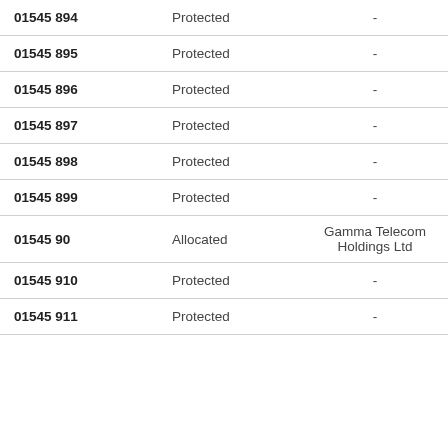| 01545 894 | Protected | - | 4 |
| 01545 895 | Protected | - | 4 |
| 01545 896 | Protected | - | 4 |
| 01545 897 | Protected | - | 4 |
| 01545 898 | Protected | - | 4 |
| 01545 899 | Protected | - | 4 |
| 01545 90 | Allocated | Gamma Telecom Holdings Ltd | 4 |
| 01545 910 | Protected | - | 4 |
| 01545 911 | Protected | - | 4 |